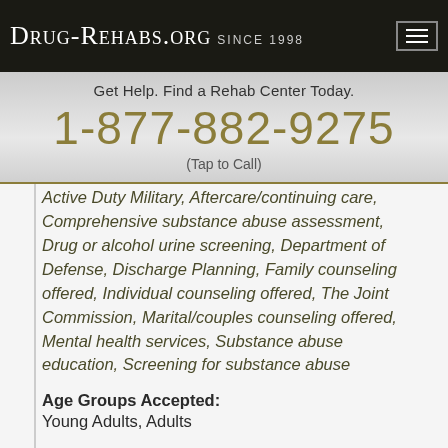Drug-Rehabs.org Since 1998
Get Help. Find a Rehab Center Today.
1-877-882-9275
(Tap to Call)
Active Duty Military, Aftercare/continuing care, Comprehensive substance abuse assessment, Drug or alcohol urine screening, Department of Defense, Discharge Planning, Family counseling offered, Individual counseling offered, The Joint Commission, Marital/couples counseling offered, Mental health services, Substance abuse education, Screening for substance abuse
Age Groups Accepted: Young Adults, Adults
Gender Accepted: Female, Male
Language Services: